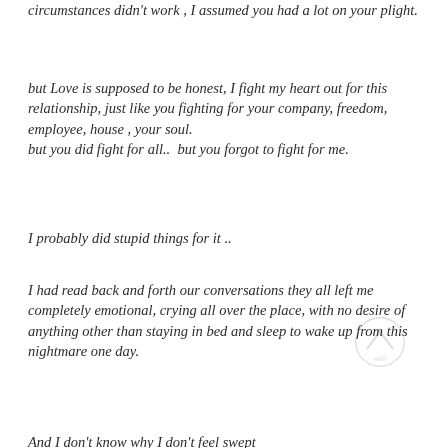circumstances didn't work , I assumed you had a lot on your plight.
but Love is supposed to be honest, I fight my heart out for this  relationship, just like you fighting for your company, freedom, employee, house , your soul. but you did fight for all..  but you forgot to fight for me.
I probably did stupid things for it ..
I had read back and forth our conversations they all left me completely emotional, crying all over the place, with no desire of anything other than staying in bed and sleep to wake up from this nightmare one day.
And I don't know why I don't feel swept